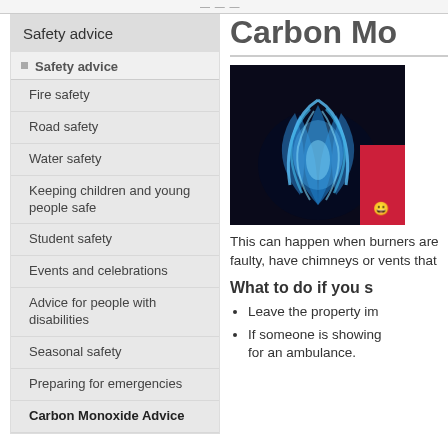Safety advice
Safety advice
Fire safety
Road safety
Water safety
Keeping children and young people safe
Student safety
Events and celebrations
Advice for people with disabilities
Seasonal safety
Preparing for emergencies
Carbon Monoxide Advice
Safety advice leaflets
Carbon Mo
[Figure (photo): Close-up photo of blue gas burner flames on a dark background]
This can happen when burners are faulty, have chimneys or vents that
What to do if you s
Leave the property im
If someone is showing for an ambulance.